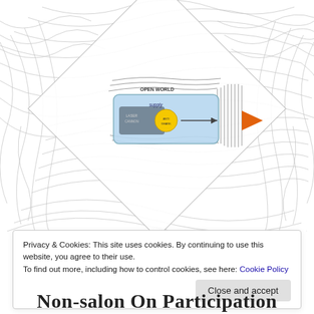[Figure (schematic): Scientific diagram showing streamlines/flow field around a rotated rectangular object. The field shows swirling line patterns (like a fingerprint or fluid flow visualization) in gray on white background. At the center is a light blue rounded rectangle representing a domain. Inside it is a smaller dark gray rectangle labeled (illegible small text) and a yellow circle. An orange arrow/triangle points leftward from the right side. The label 'OPEN WORLD' appears above the inner rectangle. A dark arrow points from outside into the blue region.]
Privacy & Cookies: This site uses cookies. By continuing to use this website, you agree to their use.
To find out more, including how to control cookies, see here: Cookie Policy
Close and accept
Non-salon On Participation